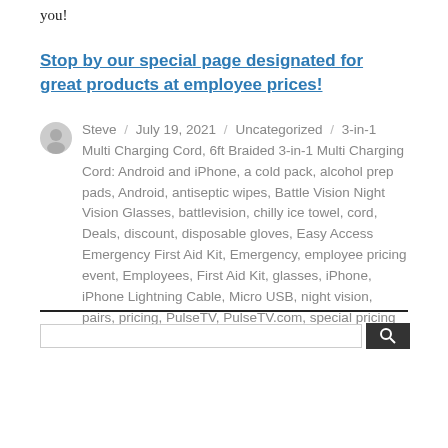you!
Stop by our special page designated for great products at employee prices!
Steve / July 19, 2021 / Uncategorized / 3-in-1 Multi Charging Cord, 6ft Braided 3-in-1 Multi Charging Cord: Android and iPhone, a cold pack, alcohol prep pads, Android, antiseptic wipes, Battle Vision Night Vision Glasses, battlevision, chilly ice towel, cord, Deals, discount, disposable gloves, Easy Access Emergency First Aid Kit, Emergency, employee pricing event, Employees, First Aid Kit, glasses, iPhone, iPhone Lightning Cable, Micro USB, night vision, pairs, pricing, PulseTV, PulseTV.com, special pricing event, Type-C, wound dressings